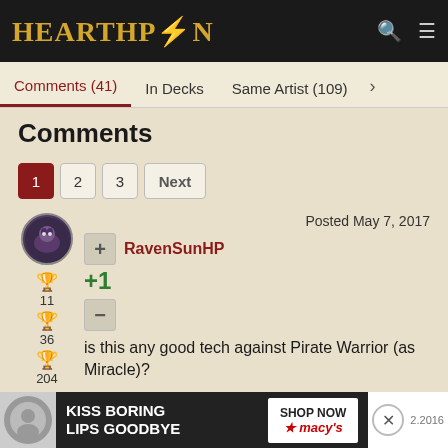HEARTHPWN
Comments (41)  In Decks  Same Artist (109)
Comments
1  2  3  Next
RavenSunHP  Posted May 7, 2017
+1
is this any good tech against Pirate Warrior (as Miracle)?
Last edited by RavenSunHP on May 7, 2017
[Figure (screenshot): Advertisement banner: KISS BORING LIPS GOODBYE - SHOP NOW - macys]